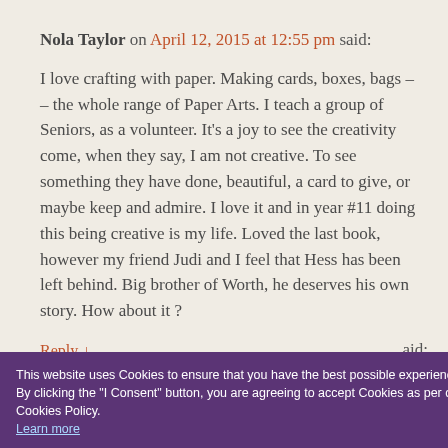Nola Taylor on April 12, 2015 at 12:55 pm said:
I love crafting with paper. Making cards, boxes, bags – – the whole range of Paper Arts. I teach a group of Seniors, as a volunteer. It's a joy to see the creativity come, when they say, I am not creative. To see something they have done, beautiful, a card to give, or maybe keep and admire. I love it and in year #11 doing this being creative is my life. Loved the last book, however my friend Judi and I feel that Hess has been left behind. Big brother of Worth, he deserves his own story. How about it ?
Reply ↓
said:
This website uses Cookies to ensure that you have the best possible experience. By clicking the "I Consent" button, you are agreeing to accept Cookies as per our Cookies Policy. Learn more